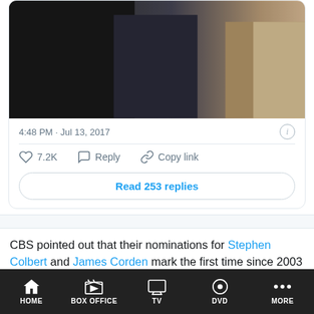[Figure (photo): Cropped photo of people in formal attire, partially visible, dark suits and light dress on right]
4:48 PM · Jul 13, 2017
♡ 7.2K   Reply   Copy link
Read 253 replies
CBS pointed out that their nominations for Stephen Colbert and James Corden mark the first time since 2003 a network had two daily late-night shows nominated in the same category. Corden, appropriately, responded with a GIF:
HOME   BOX OFFICE   TV   DVD   MORE